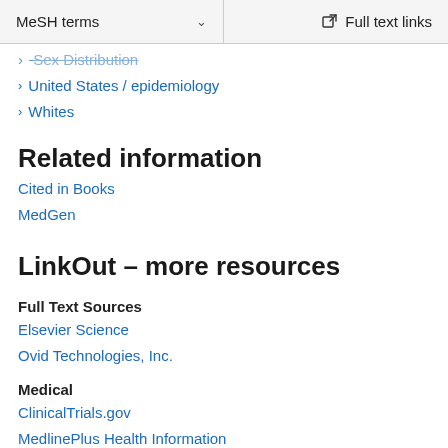MeSH terms   Full text links
Sex Distribution
United States / epidemiology
Whites
Related information
Cited in Books
MedGen
LinkOut – more resources
Full Text Sources
Elsevier Science
Ovid Technologies, Inc.
Medical
ClinicalTrials.gov
MedlinePlus Health Information